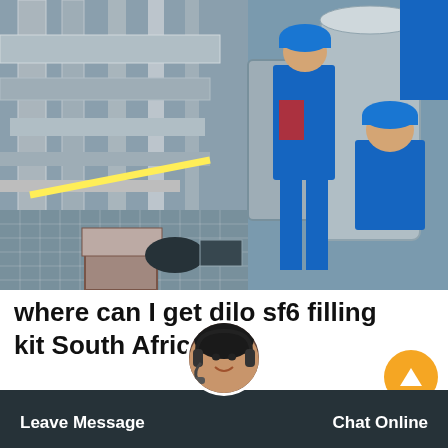[Figure (photo): Workers in blue coveralls and blue hard hats working on industrial SF6 gas equipment at a substation or industrial facility. Workers are handling large pipe fittings and cylindrical equipment. Yellow safety tape visible. Cardboard boxes and equipment bags on the ground. Metal piping and equipment racks visible.]
where can I get dilo sf6 filling kit South Africa
sf6 gas re-use in New Zealand 2004Sulfr hexafluoride has excellent insulating properties and is the preferred insulator for